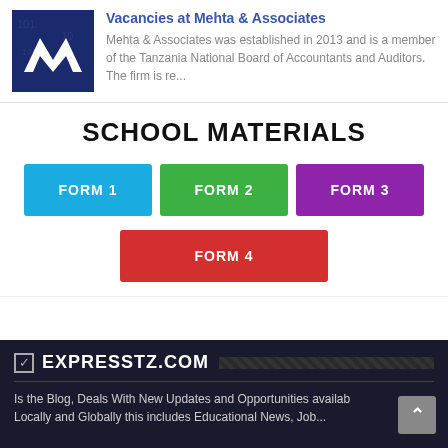[Figure (logo): Mehta & Associates logo — dark blue background with white M chevron mark]
Vacancies at Mehta & Associates
Mehta & Associates was established in 2013 and is a member of the Tanzania National Board of Accountants and Auditors. The firm is re...
SCHOOL MATERIALS
FORM 1
FORM 2
FORM 3
FORM 4
EXPRESSTZ.COM
Is the Blog, Deals With New Updates and Opportunities availab Locally and Globally this includes Educational News, Job...